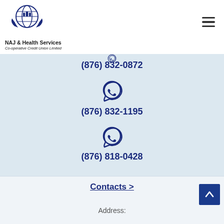[Figure (logo): NAJ & Health Services Co-operative Credit Union Limited logo with globe and hands holding figures]
(876) 832-0872
[Figure (illustration): WhatsApp icon]
(876) 832-1195
[Figure (illustration): WhatsApp icon]
(876) 818-0428
Contacts >
Address: